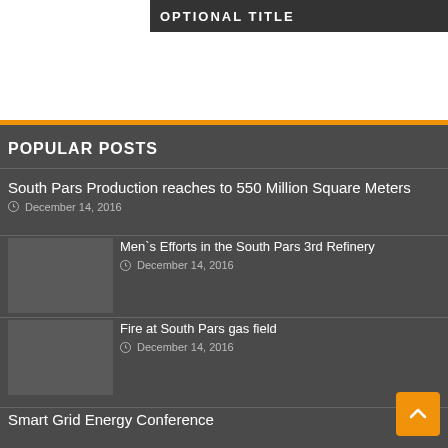[Figure (photo): Dark banner image with 'OPTIONAL TITLE' text overlay]
POPULAR POSTS
South Pars Production reaches to 550 Million Square Meters — December 14, 2016
Men`s Efforts in the South Pars 3rd Refinery — December 14, 2016
Fire at South Pars gas field — December 14, 2016
Smart Grid Energy Conference